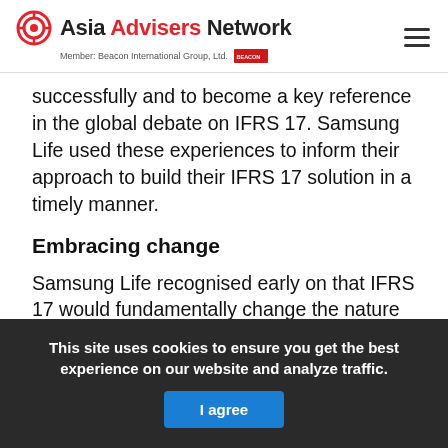Asia Advisers Network — Member: Beacon International Group, Ltd.
successfully and to become a key reference in the global debate on IFRS 17. Samsung Life used these experiences to inform their approach to build their IFRS 17 solution in a timely manner.
Embracing change
Samsung Life recognised early on that IFRS 17 would fundamentally change the nature of their financial reporting. They took a conscious decision
This site uses cookies to ensure you get the best experience on our website and analyze traffic.